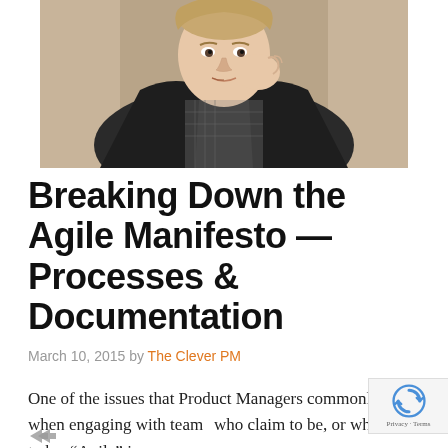[Figure (photo): Young man with light hair resting his cheek on his hand, wearing a dark jacket over a checkered shirt, photographed against a tan/beige background]
Breaking Down the Agile Manifesto — Processes & Documentation
March 10, 2015 by The Clever PM
One of the issues that Product Managers commonly face when engaging with teams who claim to be, or who want to be, "Agile" is